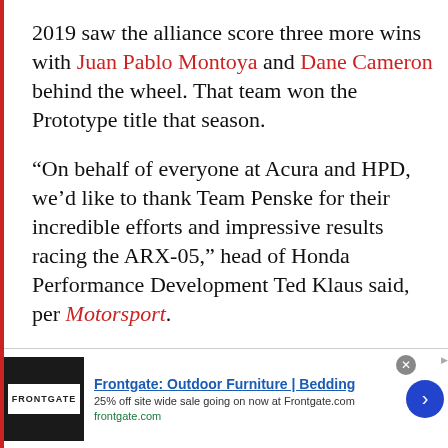2019 saw the alliance score three more wins with Juan Pablo Montoya and Dane Cameron behind the wheel. That team won the Prototype title that season.
“On behalf of everyone at Acura and HPD, we’d like to thank Team Penske for their incredible efforts and impressive results racing the ARX-05,” head of Honda Performance Development Ted Klaus said, per Motorsport.
“The success we’ve achieved together during the first two-plus years of the
[Figure (screenshot): Advertisement banner for Frontgate: Outdoor Furniture | Bedding. Shows 25% off site wide sale going on now at Frontgate.com. URL: frontgate.com. Has close button and arrow navigation button.]